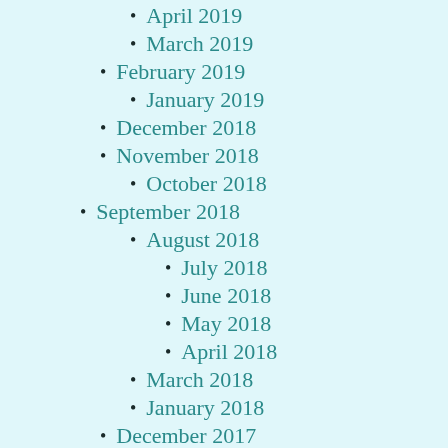April 2019
March 2019
February 2019
January 2019
December 2018
November 2018
October 2018
September 2018
August 2018
July 2018
June 2018
May 2018
April 2018
March 2018
January 2018
December 2017